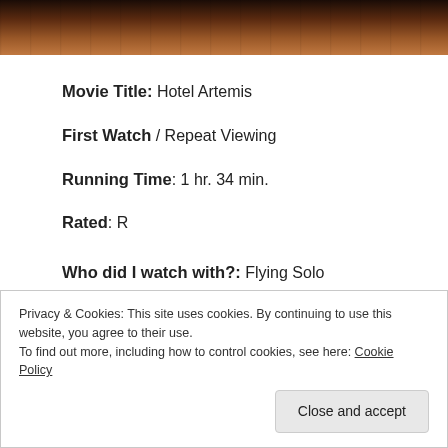[Figure (photo): Partial image of a darkened room or scene at the top of the page]
Movie Title: Hotel Artemis
First Watch / Repeat Viewing
Running Time: 1 hr. 34 min.
Rated: R
Who did I watch with?: Flying Solo
Privacy & Cookies: This site uses cookies. By continuing to use this website, you agree to their use.
To find out more, including how to control cookies, see here: Cookie Policy
Close and accept